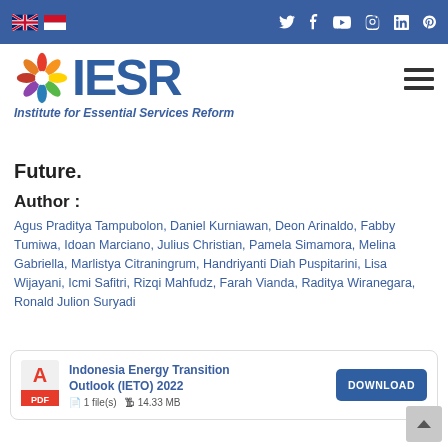IESR navigation bar with language flags (UK, Indonesia) and social media icons (Twitter, Facebook, YouTube, Instagram, LinkedIn, Pinterest)
[Figure (logo): IESR logo with colorful swirl icon, large blue IESR text, and tagline 'Institute for Essential Services Reform']
Future.
Author :
Agus Praditya Tampubolon, Daniel Kurniawan, Deon Arinaldo, Fabby Tumiwa, Idoan Marciano, Julius Christian, Pamela Simamora, Melina Gabriella, Marlistya Citraningrum, Handriyanti Diah Puspitarini, Lisa Wijayani, Icmi Safitri, Rizqi Mahfudz, Farah Vianda, Raditya Wiranegara, Ronald Julion Suryadi
Indonesia Energy Transition Outlook (IETO) 2022 — 1 file(s) — 14.33 MB — DOWNLOAD